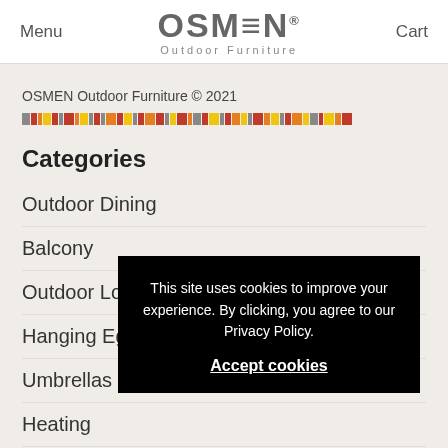Menu | OSMEN Outdoor Furniture | Cart
OSMEN Outdoor Furniture © 2021
[Figure (other): Colorful decorative bar with segments of red, yellow, orange, grey, and dark colors]
Categories
Outdoor Dining
Balcony
Outdoor Lounges
Hanging Eggs
Umbrellas
Heating
Accessories
This site uses cookies to improve your experience. By clicking, you agree to our Privacy Policy.
Accept cookies